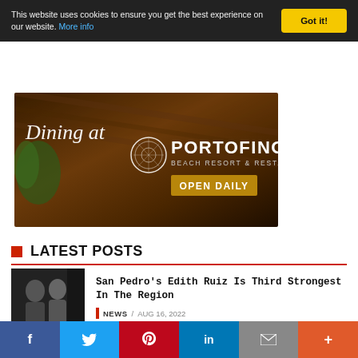This website uses cookies to ensure you get the best experience on our website. More info
[Figure (illustration): Portofino Beach Resort & Restaurant advertisement banner showing dining area with thatched roof, text 'Dining at PORTOFINO BEACH RESORT & RESTAURANT OPEN DAILY']
LATEST POSTS
San Pedro's Edith Ruiz Is Third Strongest In The Region
NEWS / AUG 16, 2022
[Figure (photo): Thumbnail photo of two people smiling, appearing to be at an event]
f  Twitter  Pinterest  in  Email  +